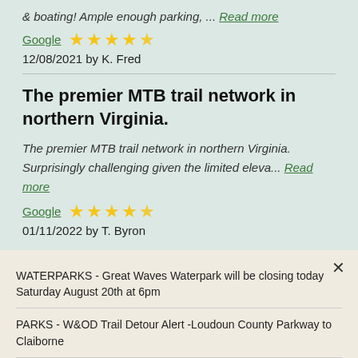&amp; boating! Ample enough parking, ... Read more
Google ★★★★★
12/08/2021 by K. Fred
The premier MTB trail network in northern Virginia.
The premier MTB trail network in northern Virginia. Surprisingly challenging given the limited eleva... Read more
Google ★★★★★
01/11/2022 by T. Byron
WATERPARKS - Great Waves Waterpark will be closing today Saturday August 20th at 6pm
PARKS - W&OD Trail Detour Alert -Loudoun County Parkway to Claiborne